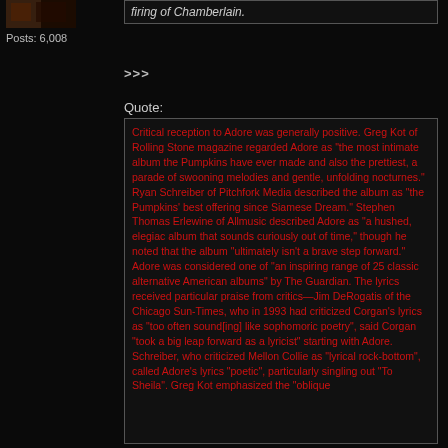[Figure (photo): Small avatar/profile image thumbnail in top left]
Posts: 6,008
firing of Chamberlain.
>>>
Quote:
Critical reception to Adore was generally positive. Greg Kot of Rolling Stone magazine regarded Adore as "the most intimate album the Pumpkins have ever made and also the prettiest, a parade of swooning melodies and gentle, unfolding nocturnes." Ryan Schreiber of Pitchfork Media described the album as "the Pumpkins' best offering since Siamese Dream." Stephen Thomas Erlewine of Allmusic described Adore as "a hushed, elegiac album that sounds curiously out of time," though he noted that the album "ultimately isn't a brave step forward." Adore was considered one of "an inspiring range of 25 classic alternative American albums" by The Guardian. The lyrics received particular praise from critics—Jim DeRogatis of the Chicago Sun-Times, who in 1993 had criticized Corgan's lyrics as "too often sound[ing] like sophomoric poetry", said Corgan "took a big leap forward as a lyricist" starting with Adore. Schreiber, who criticized Mellon Collie as "lyrical rock-bottom", called Adore's lyrics "poetic", particularly singling out "To Sheila". Greg Kot emphasized the "oblique